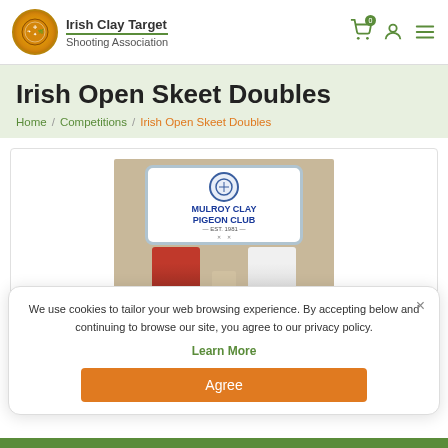Irish Clay Target Shooting Association
Irish Open Skeet Doubles
Home / Competitions / Irish Open Skeet Doubles
[Figure (photo): Two people standing in front of a Mulroy Clay Pigeon Club sign, holding a trophy]
We use cookies to tailor your web browsing experience. By accepting below and continuing to browse our site, you agree to our privacy policy.
Learn More
Agree